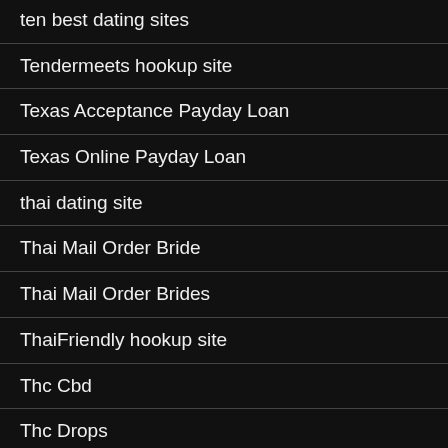ten best dating sites
Tendermeets hookup site
Texas Acceptance Payday Loan
Texas Online Payday Loan
thai dating site
Thai Mail Order Bride
Thai Mail Order Brides
ThaiFriendly hookup site
Thc Cbd
Thc Drops
Thc Oils
Thc Stands For
The Bell Jar Summary